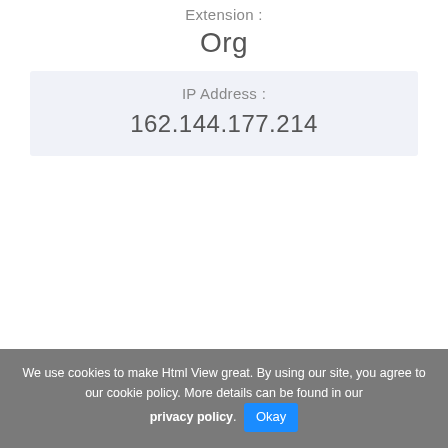Extension :
Org
IP Address :
162.144.177.214
We use cookies to make Html View great. By using our site, you agree to our cookie policy. More details can be found in our privacy policy. Okay